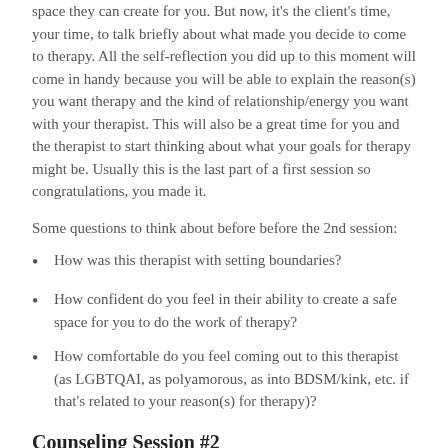space they can create for you. But now, it's the client's time, your time, to talk briefly about what made you decide to come to therapy. All the self-reflection you did up to this moment will come in handy because you will be able to explain the reason(s) you want therapy and the kind of relationship/energy you want with your therapist. This will also be a great time for you and the therapist to start thinking about what your goals for therapy might be. Usually this is the last part of a first session so congratulations, you made it.
Some questions to think about before before the 2nd session:
How was this therapist with setting boundaries?
How confident do you feel in their ability to create a safe space for you to do the work of therapy?
How comfortable do you feel coming out to this therapist (as LGBTQAI, as polyamorous, as into BDSM/kink, etc. if that's related to your reason(s) for therapy)?
Counseling Session #2
Walking Into This Session